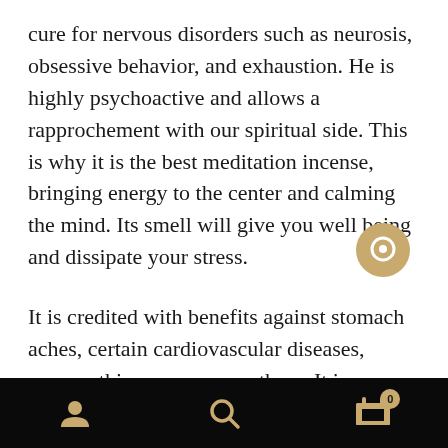cure for nervous disorders such as neurosis, obsessive behavior, and exhaustion. He is highly psychoactive and allows a rapprochement with our spiritual side. This is why it is the best meditation incense, bringing energy to the center and calming the mind. Its smell will give you well being and dissipate your stress.
It is credited with benefits against stomach aches, certain cardiovascular diseases, neuropathies, nausea or asthma. It is even widely used by the pharmaceutical industry because it is naturally rich in terpenoids (natural sedative and anxiolytic) as well as in
Navigation bar with user icon, search icon, and cart icon